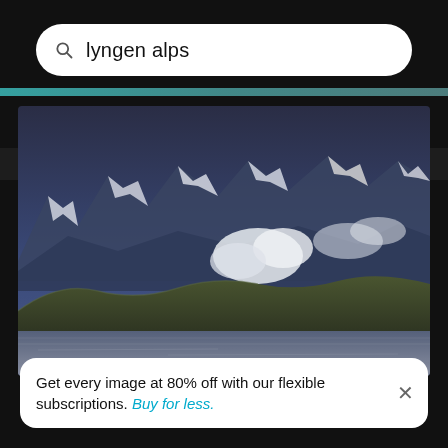lyngen alps
Ski skiing on snow covered landscape
[Figure (photo): Landscape photograph of Lyngen Alps showing snow-capped mountain peaks with low clouds, green rolling hills in the mid-ground, and a fjord/lake with shimmering water in the foreground. Moody blue-purple atmospheric lighting.]
Get every image at 80% off with our flexible subscriptions. Buy for less.